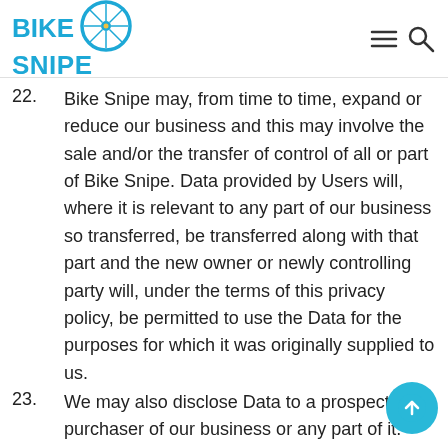Bike Snipe
22. Bike Snipe may, from time to time, expand or reduce our business and this may involve the sale and/or the transfer of control of all or part of Bike Snipe. Data provided by Users will, where it is relevant to any part of our business so transferred, be transferred along with that part and the new owner or newly controlling party will, under the terms of this privacy policy, be permitted to use the Data for the purposes for which it was originally supplied to us.
23. We may also disclose Data to a prospective purchaser of our business or any part of it.
24. In the above instances, we will take steps with the aim of ensuring your privacy is protected